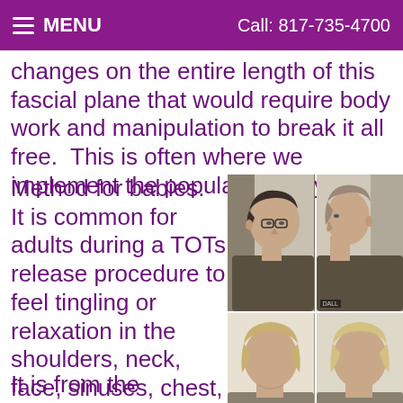≡ MENU    Call: 817-735-4700
changes on the entire length of this fascial plane that would require body work and manipulation to break it all free.  This is often where we implement the popular TummyTime Method for babies.  It is common for adults during a TOTs release procedure to feel tingling or relaxation in the shoulders, neck, face, sinuses, chest, breathing, hands and even feet. It is from the
[Figure (photo): Four photos of a person's head/neck from side and back angles showing posture before and after treatment — front-left profile with glasses, front-right profile without glasses, back-left view showing neck/nape, back-right view showing neck/nape.]